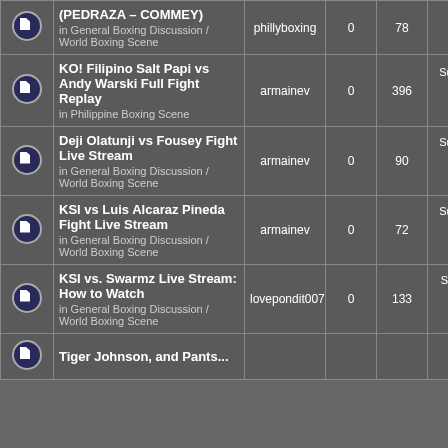|  | Topic | Author | Replies | Views | Last Post |
| --- | --- | --- | --- | --- | --- |
|  | (PEDRAZA – COMMEY) in General Boxing Discussion / World Boxing Scene | phillyboxing | 0 | 78 | 2022 7:22 am phillyboxing |
|  | KO! Filipino Salt Papi vs Andy Warski Full Fight Replay in Philippine Boxing Scene | armainev | 0 | 396 | Sun Aug 28, 2022 4:23 am armainev |
|  | Deji Olatunji vs Fousey Fight Live Stream in General Boxing Discussion / World Boxing Scene | armainev | 0 | 90 | Sun Aug 28, 2022 3:46 am armainev |
|  | KSI vs Luis Alcaraz Pineda Fight Live Stream in General Boxing Discussion / World Boxing Scene | armainev | 0 | 72 | Sun Aug 28, 2022 3:35 am armainev |
|  | KSI vs. Swarmz Live Stream: How to Watch in General Boxing Discussion / World Boxing Scene | lovepondit007 | 0 | 133 | Sat Aug 27, 2022 7:25 pm lovepondit007 |
|  | Tiger Johnson, and Pants... |  |  |  |  |